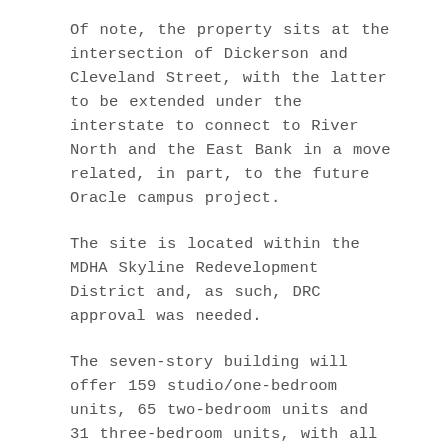Of note, the property sits at the intersection of Dickerson and Cleveland Street, with the latter to be extended under the interstate to connect to River North and the East Bank in a move related, in part, to the future Oracle campus project.
The site is located within the MDHA Skyline Redevelopment District and, as such, DRC approval was needed.
The seven-story building will offer 159 studio/one-bedroom units, 65 two-bedroom units and 31 three-bedroom units, with all units to be subject to income and rent restrictions. To qualify, renters will earn no more than 60 percent of the area median income. A 308-space parking garage will be included.
Dominium has enlisted Nashville-based Smith Gee Studio (architects). Nashville-based Studio...